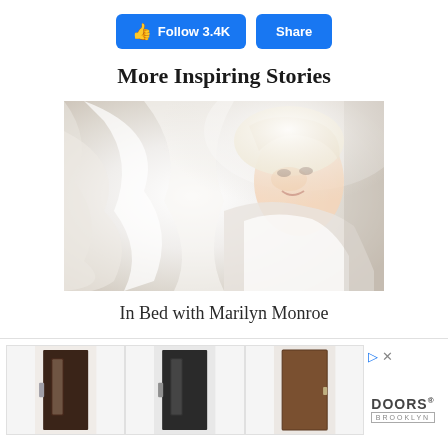[Figure (screenshot): Facebook-style Follow 3.4K and Share buttons in blue]
More Inspiring Stories
[Figure (photo): Black and white/color photo of Marilyn Monroe lying in bed with white sheets]
In Bed with Marilyn Monroe
[Figure (photo): Advertisement showing three interior doors from Doors Brooklyn brand]